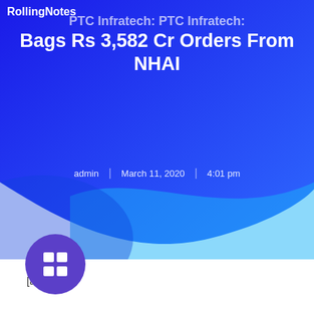RollingNotes
PTC Infratech: PTC Infratech Bags Rs 3,582 Cr Orders From NHAI
admin | March 11, 2020 | 4:01 pm
[ad_1]
[Figure (other): Purple circular button with a white table/grid icon]